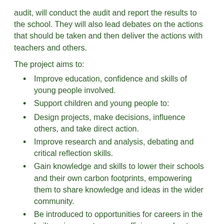audit, will conduct the audit and report the results to the school. They will also lead debates on the actions that should be taken and then deliver the actions with teachers and others.
The project aims to:
Improve education, confidence and skills of young people involved.
Support children and young people to:
Design projects, make decisions, influence others, and take direct action.
Improve research and analysis, debating and critical reflection skills.
Gain knowledge and skills to lower their schools and their own carbon footprints, empowering them to share knowledge and ideas in the wider community.
Be introduced to opportunities for careers in the built environment, energy efficiency and nature sectors.
Carry a better understanding of climate change...